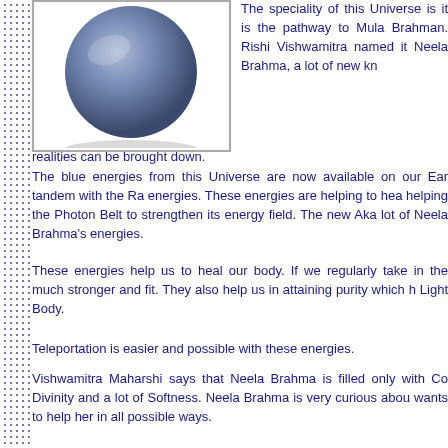[Figure (illustration): A blue-grey 3D sphere rendered against a white background, representing a celestial or cosmic body (Neela Brahma Universe).]
The speciality of this Universe is it is the pathway to Mula Brahman. Rishi Vishwamitra named it Neela Brahma, a lot of new knowledges and realities can be brought down.
The blue energies from this Universe are now available on our Earth and in tandem with the Ra energies. These energies are helping to heal our Earth and helping the Photon Belt to strengthen its energy field. The new Akashic records have a lot of Neela Brahma's energies.
These energies help us to heal our body. If we regularly take in these energies we become much stronger and fit. They also help us in attaining purity which helps us to manifest the Light Body.
Teleportation is easier and possible with these energies.
Vishwamitra Maharshi says that Neela Brahma is filled only with Compassion, Divinity and a lot of Softness. Neela Brahma is very curious about our Earth and wants to help her in all possible ways.